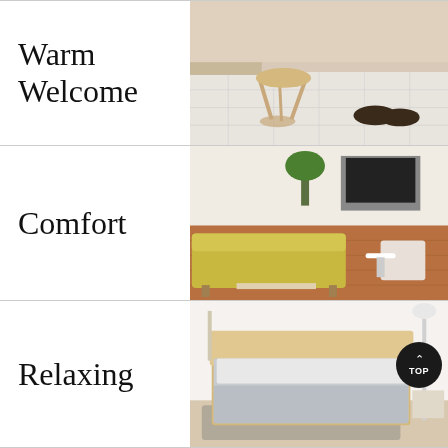Warm Welcome
[Figure (photo): Entryway with a wooden three-legged stool and a pair of dark shoes on white tile floor]
Comfort
[Figure (photo): Living room with yellow sofa, wooden furniture, plants, and TV on hardwood floor]
Relaxing
[Figure (photo): Bedroom with a neatly made bed with grey duvet, wooden bed frame, floor lamp, and light walls]
[Figure (photo): Partial view of a room with shelving and clothes rack at bottom of page]